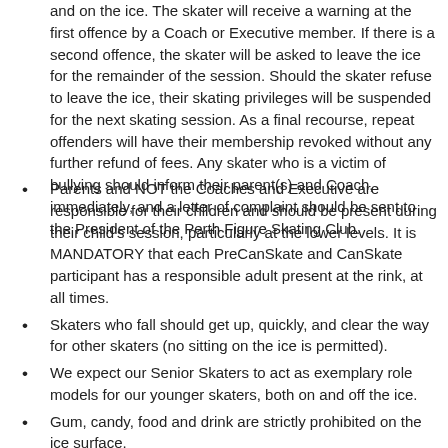and on the ice. The skater will receive a warning at the first offence by a Coach or Executive member. If there is a second offence, the skater will be asked to leave the ice for the remainder of the session. Should the skater refuse to leave the ice, their skating privileges will be suspended for the next skating session. As a final recourse, repeat offenders will have their membership revoked without any further refund of fees. Any skater who is a victim of bullying should inform their parent(s) and Coach, immediately, and a letter of complaint should be sent to the President of the Perth Figure Skating Club.
Parents and NOT the Coaches and Executive are responsible for their children and should be present during their child's session, particularly at the lower levels. It is MANDATORY that each PreCanSkate and CanSkate participant has a responsible adult present at the rink, at all times.
Skaters who fall should get up, quickly, and clear the way for other skaters (no sitting on the ice is permitted).
We expect our Senior Skaters to act as exemplary role models for our younger skaters, both on and off the ice.
Gum, candy, food and drink are strictly prohibited on the ice surface.
Due to insurance regulations, family, friends and coaches are prohibited on the ice surface if they are not a registered Skate